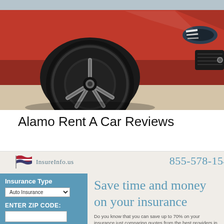[Figure (photo): Close-up photo of a red sports car (Ford Mustang) showing the front wheel, headlight, and grille against a gravel/sandy background with bright sunlight.]
Alamo Rent A Car Reviews
[Figure (screenshot): Screenshot of InsureInfo.us insurance website showing phone number 855-578-1546, an insurance type dropdown (Auto Insurance), ENTER ZIP CODE field, GET A QUOTE button, and tagline 'Save time and money on your insurance'. Text: 'Do you know that you can save up to 70% on your insurance just comparing quotes from the best providers in your area?']